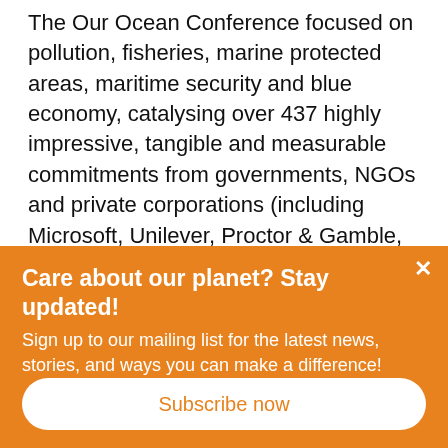The Our Ocean Conference focused on pollution, fisheries, marine protected areas, maritime security and blue economy, catalysing over 437 highly impressive, tangible and measurable commitments from governments, NGOs and private corporations (including Microsoft, Unilever, Proctor & Gamble, Sky, and many more). Together these announcements totalled 7.27 billion euros in financial pledges (the previous 3 conferences totalled 6 billion euros) and over 2.55 million km² of additional MPAs. As a major novelty, the 2017 conference for the first time
Care about our planet? Stay updated!
Sign up to our mailing list for the latest news, stories, and ways you can make a difference!
Subscribe now